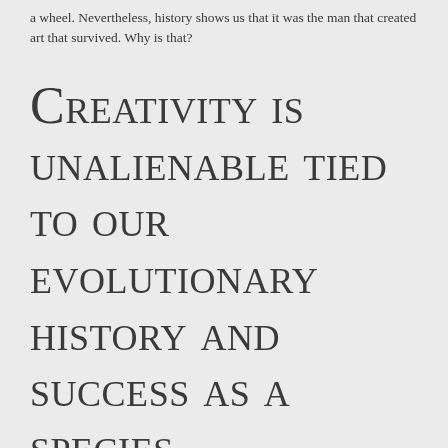a wheel. Nevertheless, history shows us that it was the man that created art that survived. Why is that?
Creativity is unalienable tied to our evolutionary history and success as a species.